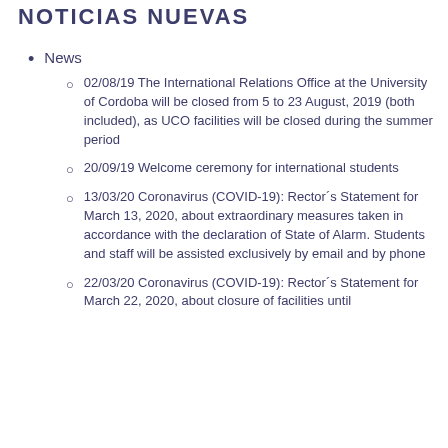NOTICIAS NUEVAS
News
02/08/19 The International Relations Office at the University of Cordoba will be closed from 5 to 23 August, 2019 (both included), as UCO facilities will be closed during the summer period
20/09/19 Welcome ceremony for international students
13/03/20 Coronavirus (COVID-19): Rector´s Statement for March 13, 2020, about extraordinary measures taken in accordance with the declaration of State of Alarm. Students and staff will be assisted exclusively by email and by phone
22/03/20 Coronavirus (COVID-19): Rector´s Statement for March 22, 2020, about closure of facilities until